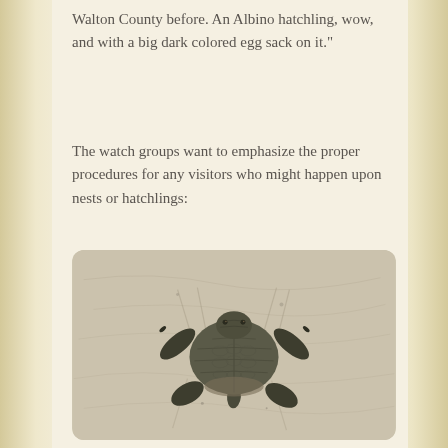Walton County before. An Albino hatchling, wow, and with a big dark colored egg sack on it."
The watch groups want to emphasize the proper procedures for any visitors who might happen upon nests or hatchlings:
[Figure (photo): A sea turtle hatchling photographed from above on sandy beach. The small turtle is dark/olive colored with a divided carapace and four flippers spread outward. The sand shows various tracks and impressions around the hatchling.]